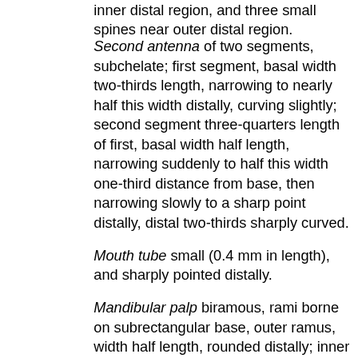inner distal region, and three small spines near outer distal region.
Second antenna of two segments, subchelate; first segment, basal width two-thirds length, narrowing to nearly half this width distally, curving slightly; second segment three-quarters length of first, basal width half length, narrowing suddenly to half this width one-third distance from base, then narrowing slowly to a sharp point distally, distal two-thirds sharply curved.
Mouth tube small (0.4 mm in length), and sharply pointed distally.
Mandibular palp biramous, rami borne on subrectangular base, outer ramus, width half length, rounded distally; inner ramus